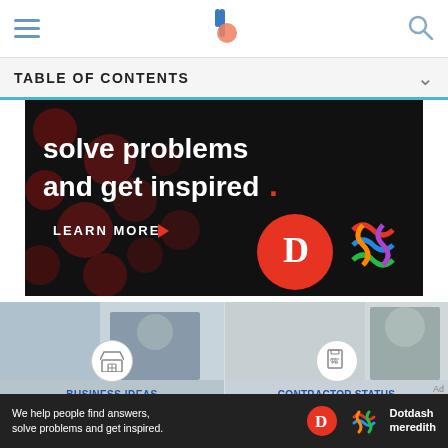Navigation bar with hamburger menu, logo, and search icon
TABLE OF CONTENTS
[Figure (advertisement): Dark advertisement banner with red polka dot background. Text reads 'solve problems and get inspired.' with 'LEARN MORE' button. Shows Dotdash (D) logo and colorful knot/flower logo.]
[Figure (photo): Two card thumbnails: left card shows a person leaning over a desk with a market stall icon and label BUSINESS IDEAS / Independent. Right card shows a woman leaning over a desk with a document/percent icon and label CONTRACTOR STATUS.]
We help people find answers, solve problems and get inspired. [Dotdash Meredith logo]